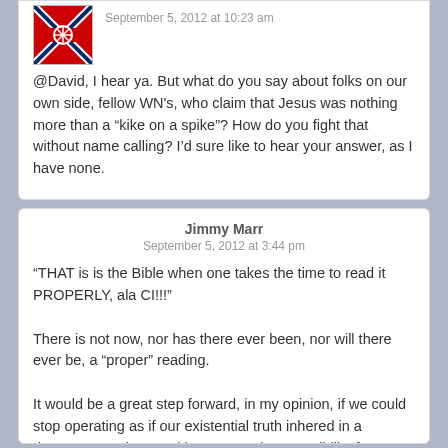@David, I hear ya. But what do you say about folks on our own side, fellow WN's, who claim that Jesus was nothing more than a “kike on a spike”? How do you fight that without name calling? I’d sure like to hear your answer, as I have none.
Jimmy Marr
September 5, 2012 at 3:44 pm
“THAT is is the Bible when one takes the time to read it PROPERLY, ala CI!!!”
There is not now, nor has there ever been, nor will there ever be, a “proper” reading.
It would be a great step forward, in my opinion, if we could stop operating as if our existential truth inhered in a document, and start taking personal responsibility for our opinions rather than projecting them onto the ambiguities of a document.